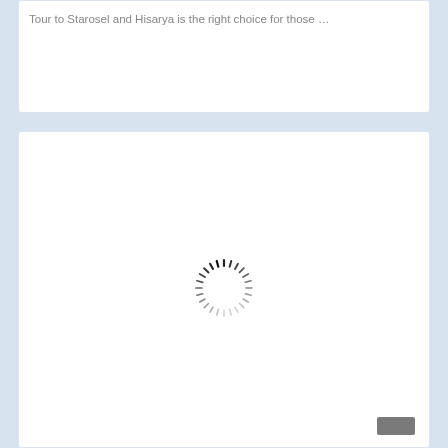Tour to Starosel and Hisarya is the right choice for those …
[Figure (other): Loading spinner (circular dashed ring) centered in a white card panel]